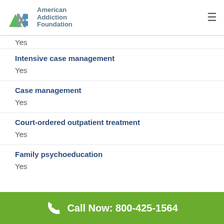American Addiction Foundation
Intensive case management
Yes
Case management
Yes
Court-ordered outpatient treatment
Yes
Family psychoeducation
Yes
Call Now: 800-425-1564